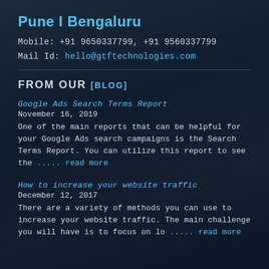Pune I Bengaluru
Mobile: +91 9650337799, +91 9560337799
Mail Id: hello@gtftechnologies.com
FROM OUR [BLOG]
Google Ads Search Terms Report
November 16, 2019
One of the main reports that can be helpful for your Google Ads search campaigns is the Search Terms Report. You can utilize this report to see the ..... read more
How to increase your website traffic
December 12, 2017
There are a variety of methods you can use to increase your website traffic. The main challenge you will have is to focus on lo ..... read more